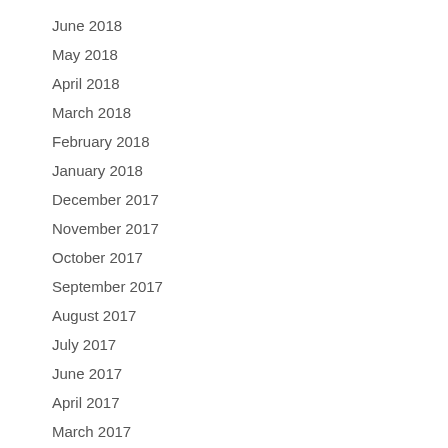June 2018
May 2018
April 2018
March 2018
February 2018
January 2018
December 2017
November 2017
October 2017
September 2017
August 2017
July 2017
June 2017
April 2017
March 2017